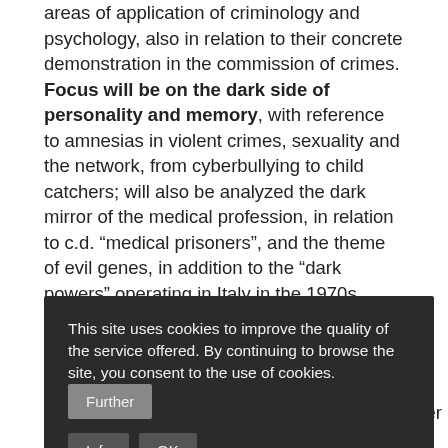areas of application of criminology and psychology, also in relation to their concrete demonstration in the commission of crimes. Focus will be on the dark side of personality and memory, with reference to amnesias in violent crimes, sexuality and the network, from cyberbullying to child catchers; will also be analyzed the dark mirror of the medical profession, in relation to c.d. “medical prisoners”, and the theme of evil genes, in addition to the “dark powers” operating in Italy in the 1970s, thanks to the contribution of journalists, historians, psychologists, teachers and many other professionals in the field.
This site uses cookies to improve the quality of the service offered. By continuing to browse the site, you consent to the use of cookies. Further Info OK
State Police, Dr. Giampietro Lago, Commander of RIS